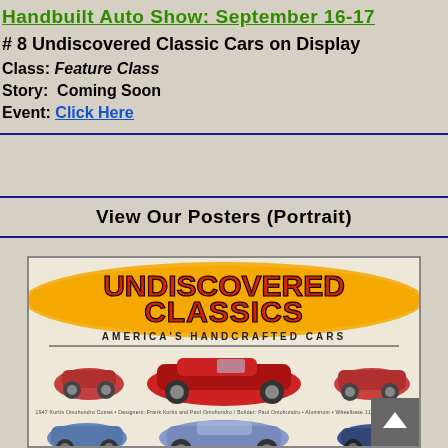Handbuilt Auto Show: September 16-17
# 8 Undiscovered Classic Cars on Display
Class: Feature Class
Story: Coming Soon
Event: Click Here
View Our Posters (Portrait)
[Figure (photo): Undiscovered Classics - America's Handcrafted Cars poster showing multiple vintage handbuilt cars including red roadsters and blue custom cars]